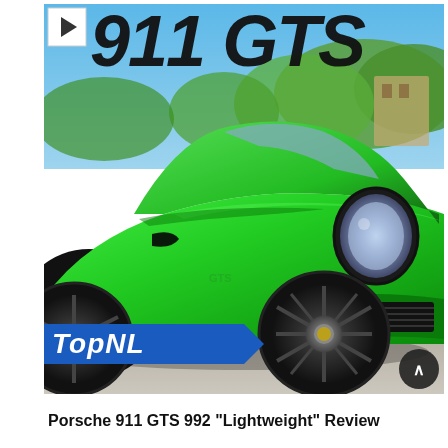[Figure (photo): A vivid green Porsche 911 GTS 992 sports car photographed from the front-left angle, parked outdoors with trees and blue sky in the background. The car has black alloy wheels and distinctive round headlights. Overlaid on the image is large bold italic text '911 GTS' in black, a white play button icon in the top-left corner, a blue 'TopNL' badge in the lower-left corner with an arrow shape, and a dark circular scroll-up button in the lower-right corner.]
Porsche 911 GTS 992 "Lightweight" Review